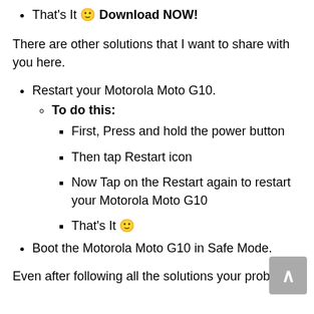That's It 🙂 Download NOW!
There are other solutions that I want to share with you here.
Restart your Motorola Moto G10.
To do this:
First, Press and hold the power button
Then tap Restart icon
Now Tap on the Restart again to restart your Motorola Moto G10
That's It 🙂
Boot the Motorola Moto G10 in Safe Mode.
Even after following all the solutions your problem